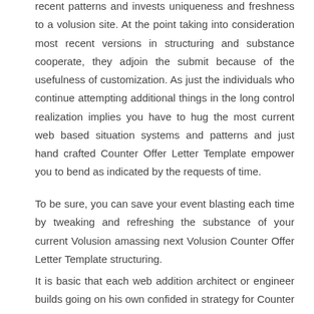recent patterns and invests uniqueness and freshness to a volusion site. At the point taking into consideration most recent versions in structuring and substance cooperate, they adjoin the submit because of the usefulness of customization. As just the individuals who continue attempting additional things in the long control realization implies you have to hug the most current web based situation systems and patterns and just hand crafted Counter Offer Letter Template empower you to bend as indicated by the requests of time.
To be sure, you can save your event blasting each time by tweaking and refreshing the substance of your current Volusion amassing next Volusion Counter Offer Letter Template structuring.
It is basic that each web addition architect or engineer builds going on his own confided in strategy for Counter Offer Letter Template advancement. In any case, interestingly, the template must fill the need for which they are fabricated.